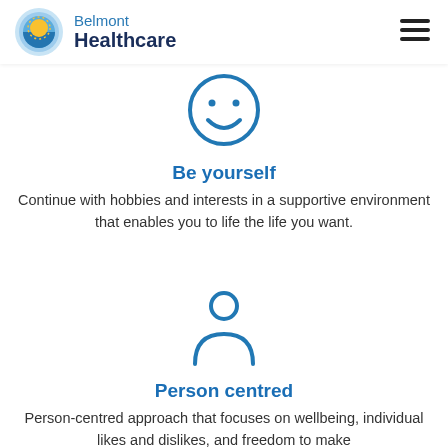[Figure (logo): Belmont Healthcare logo: circular sun/wave icon in blue and yellow, with 'Belmont Healthcare' text in blue and navy]
[Figure (illustration): Blue outline smiley face circle icon]
Be yourself
Continue with hobbies and interests in a supportive environment that enables you to life the life you want.
[Figure (illustration): Blue outline person/user silhouette icon]
Person centred
Person-centred approach that focuses on wellbeing, individual likes and dislikes, and freedom to make